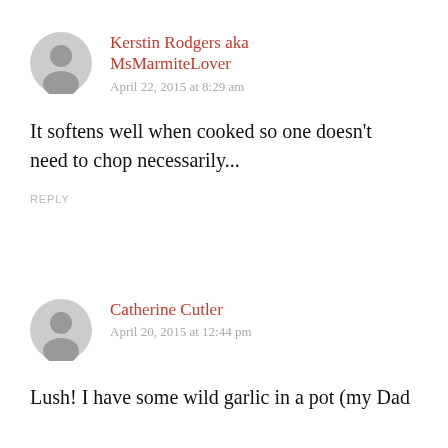Kerstin Rodgers aka MsMarmiteLover
April 22, 2015 at 8:29 am
It softens well when cooked so one doesn't need to chop necessarily...
REPLY
Catherine Cutler
April 20, 2015 at 12:44 pm
Lush! I have some wild garlic in a pot (my Dad